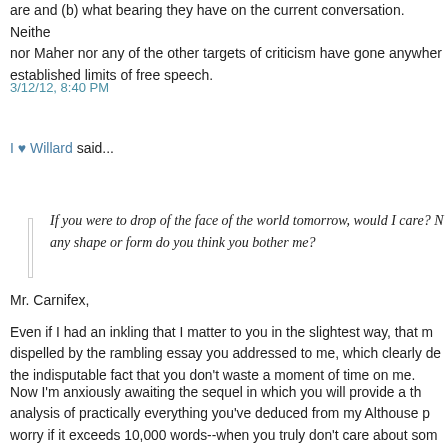are and (b) what bearing they have on the current conversation. Neither nor Maher nor any of the other targets of criticism have gone anywhere established limits of free speech.
3/12/12, 8:40 PM
I ♥ Willard said...
If you were to drop of the face of the world tomorrow, would I care? N any shape or form do you think you bother me?
Mr. Carnifex,
Even if I had an inkling that I matter to you in the slightest way, that m dispelled by the rambling essay you addressed to me, which clearly de the indisputable fact that you don't waste a moment of time on me.
Now I'm anxiously awaiting the sequel in which you will provide a th analysis of practically everything you've deduced from my Althouse p worry if it exceeds 10,000 words--when you truly don't care about som important that you dedicate time and effort to the project!